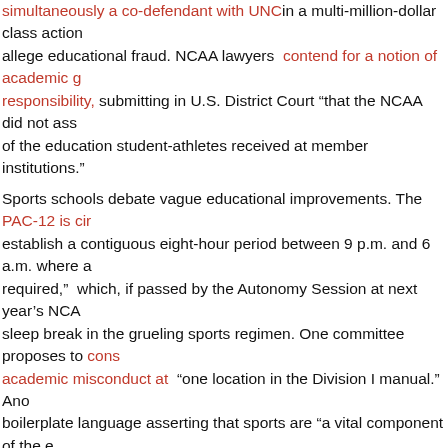simultaneously a co-defendant with UNC in a multi-million-dollar class action allege educational fraud. NCAA lawyers contend for a notion of academic responsibility, submitting in U.S. District Court “that the NCAA did not ass of the education student-athletes received at member institutions.”
Sports schools debate vague educational improvements. The PAC-12 is cir establish a contiguous eight-hour period between 9 p.m. and 6 a.m. where a required,” which, if passed by the Autonomy Session at next year’s NCA sleep break in the grueling sports regimen. One committee proposes to cons academic misconduct at “one location in the Division I manual.” Ano boilerplate language asserting that sports are “a vital component of the shall be an integral part of the student body.” Beneath this rhetoric, sports lavish academic facilities reserved for athletes, such as Texas A&M’s $27 $30 million Loudermilk Center, and Oregon’s $41.7 million Jaqua Cente the athletic department supervise a growing portion of the curriculum. As de record, this separated sports academy can subject college players to a tragi a Division I football team coached by biology professors.
“I think we recognized that all of my football players are at-risk,”  Notr